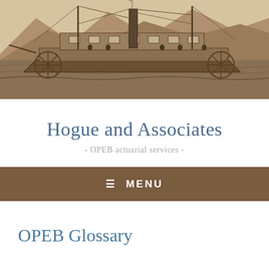[Figure (illustration): Vintage engraving of a paddle steamboat on water with mountains in the background, rendered in sepia/brown tones]
Hogue and Associates
- OPEB actuarial services -
≡ MENU
OPEB Glossary